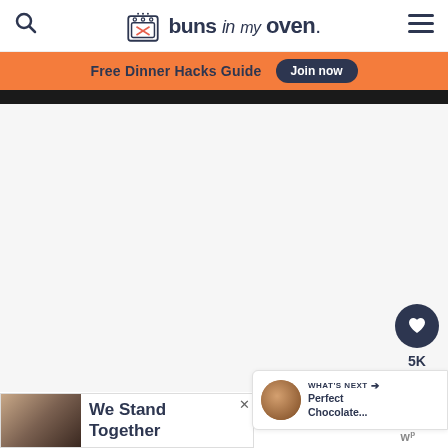buns in my oven.
Free Dinner Hacks Guide  Join now
[Figure (photo): Dark food photo at top, partially visible]
[Figure (screenshot): White content area of blog page with floating heart/save button (5K saves) and share button]
WHAT'S NEXT → Perfect Chocolate...
[Figure (photo): We Stand Together advertisement with group of people]
[Figure (logo): X close button and WP logo]